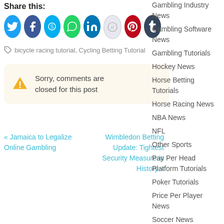Share this:
[Figure (infographic): Row of social media share buttons: Twitter (blue), Facebook (dark blue), Skype (teal), WhatsApp (green), LinkedIn (blue), Reddit (light grey), Pinterest (red), Tumblr (dark navy)]
bicycle racing tutorial, Cycling Betting Tutorial
Sorry, comments are closed for this post
Gambling Industry News
Gambling Software News
Gambling Tutorials
Hockey News
Horse Betting Tutorials
Horse Racing News
NBA News
NFL
Other Sports
Pay Per Head Platform Tutorials
Poker Tutorials
Price Per Player News
Soccer News
Sports Betting
« Jamaica to Legalize Online Gambling
Wimbledon Betting Update: Tightest Security Measure in History »